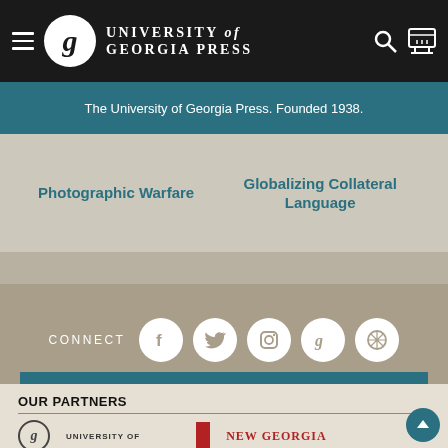University of Georgia Press
The University of Georgia Press. Founded 1938.
Photographic Warfare
Globalizing Collateral Language
CONNECT
JOIN OUR EMAIL LIST
OUR PARTNERS
UNIVERSITY OF
NEW GEORGIA